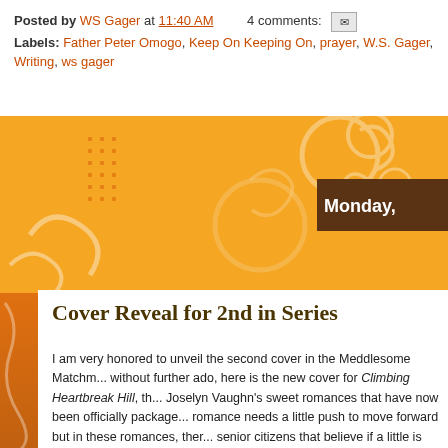Posted by WS Gager at 11:40 AM   4 comments:   [email icon]
Labels: Father Peter Omogo, Keep On Keeping On, prayer, W.S. Gager, Writing, ws gager
Monday,
Cover Reveal for 2nd in Series
I am very honored to unveil the second cover in the Meddlesome Matchm... without further ado, here is the new cover for Climbing Heartbreak Hill, th... Joselyn Vaughn's sweet romances that have now been officially package... romance needs a little push to move forward but in these romances, ther... senior citizens that believe if a little is needed, a lot is much better and be...
[Figure (photo): Book cover for 'Climbing Heartbreak Hill' - A Meddlesome Matchmakers Novel, showing a couple (man and woman) holding up a large yellow autumn leaf in front of their faces, with autumn bokeh background.]